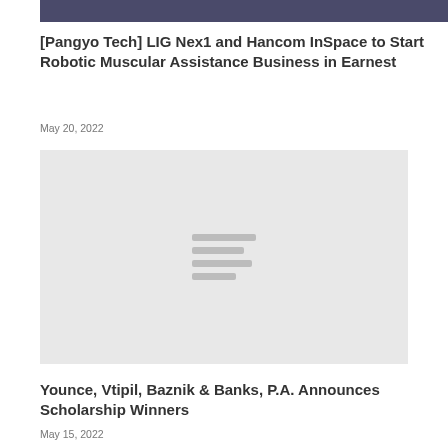[Figure (photo): Partial photo of people at the top of the page, cropped]
[Pangyo Tech] LIG Nex1 and Hancom InSpace to Start Robotic Muscular Assistance Business in Earnest
May 20, 2022
[Figure (photo): Placeholder image with gray background and loading lines icon]
Younce, Vtipil, Baznik & Banks, P.A. Announces Scholarship Winners
May 15, 2022